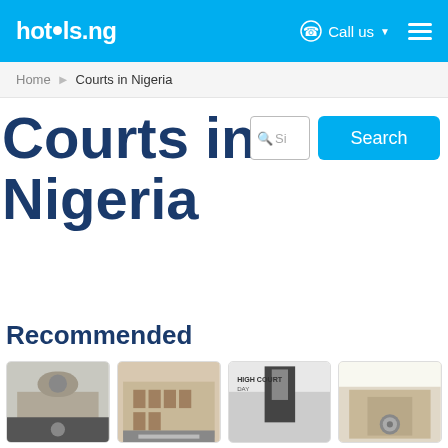hotels.ng — Call us — (hamburger menu)
Home > Courts in Nigeria
Courts in Nigeria
[Figure (screenshot): Search input box with magnifying glass icon and placeholder text 'Si']
[Figure (screenshot): Blue Search button]
Recommended
[Figure (photo): Court building photo 1]
[Figure (photo): Court building photo 2]
[Figure (photo): Court building photo 3 - High Court]
[Figure (photo): Court building photo 4]